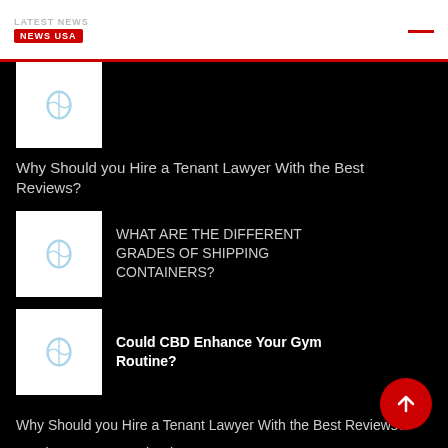NEWS USA
[Figure (photo): White thumbnail with image placeholder icon]
Why Should you Hire a Tenant Lawyer With the Best Reviews?
[Figure (photo): White thumbnail with image placeholder icon]
WHAT ARE THE DIFFERENT GRADES OF SHIPPING CONTAINERS?
[Figure (photo): White thumbnail with image placeholder icon]
Could CBD Enhance Your Gym Routine?
Why Should you Hire a Tenant Lawyer With the Best Reviews?
Renting as an Expat in Singapore
Can Aries and Taurus Have Success in Love?